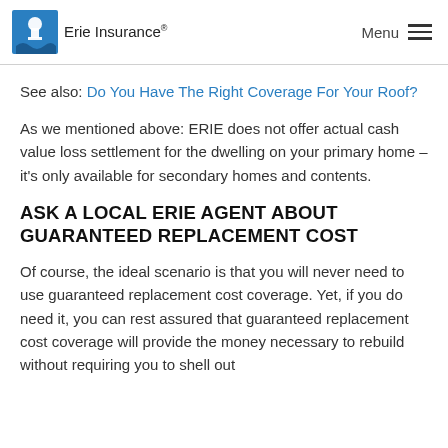Erie Insurance | Menu
See also: Do You Have The Right Coverage For Your Roof?
As we mentioned above: ERIE does not offer actual cash value loss settlement for the dwelling on your primary home – it's only available for secondary homes and contents.
ASK A LOCAL ERIE AGENT ABOUT GUARANTEED REPLACEMENT COST
Of course, the ideal scenario is that you will never need to use guaranteed replacement cost coverage. Yet, if you do need it, you can rest assured that guaranteed replacement cost coverage will provide the money necessary to rebuild without requiring you to shell out